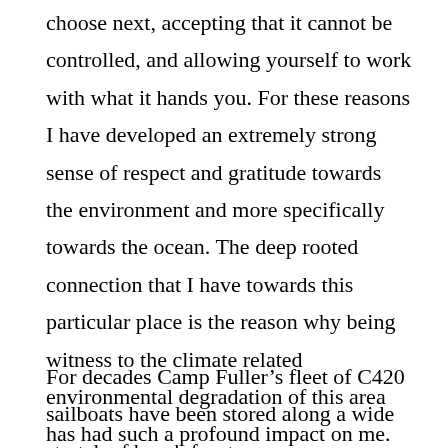choose next, accepting that it cannot be controlled, and allowing yourself to work with what it hands you. For these reasons I have developed an extremely strong sense of respect and gratitude towards the environment and more specifically towards the ocean. The deep rooted connection that I have towards this particular place is the reason why being witness to the climate related environmental degradation of this area has had such a profound impact on me.
For decades Camp Fuller’s fleet of C420 sailboats have been stored along a wide stretch of beach front